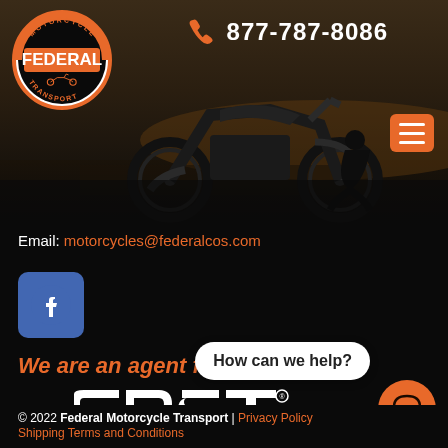[Figure (logo): Federal Motorcycle Transport circular logo with orange and white design, motorcycle image in center]
[Figure (photo): Dark moody photo of a motorcycle parked near water at sunset with a person sitting in background]
877-787-8086
Email: motorcycles@federalcos.com
[Figure (logo): Facebook social media icon - white F on blue rounded square]
We are an agent for
[Figure (logo): CRST Specialized Transport logo - large white bold letters CRST with registered trademark, three horizontal lines and SPECIALIZED TRANSPORT text below]
How can we help?
© 2022 Federal Motorcycle Transport | Privacy Policy | Shipping Terms and Conditions